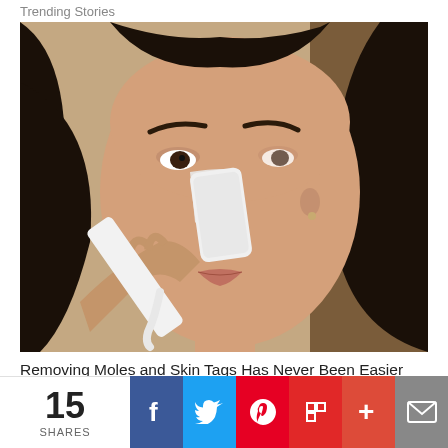Trending Stories
[Figure (photo): Woman applying white pore strip or adhesive strip to her nose, close-up beauty/skincare photo]
Removing Moles and Skin Tags Has Never Been Easier (Just Do This!)
15 SHARES
[Figure (other): Social sharing bar with Facebook, Twitter, Pinterest, Flipboard, Plus, and Email buttons]